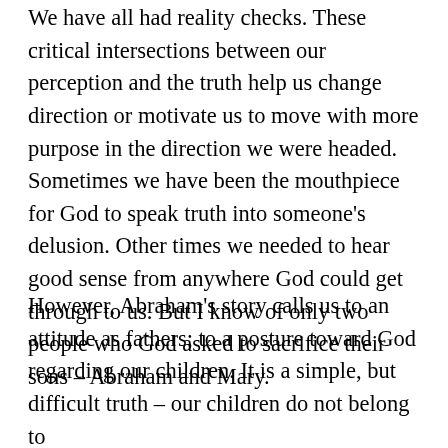We have all had reality checks. These critical intersections between our perception and the truth help us change direction or motivate us to move with more purpose in the direction we were headed. Sometimes we have been the mouthpiece for God to speak truth into someone's delusion. Other times we needed to hear good sense from anywhere God could get through to us. But I know of only two people who God asked to sacrifice their sons – Abraham and Mary.
However, Abraham's story calls us to an attitude as fathers; to a posture toward God regarding our children. It is a simple, but difficult truth – our children do not belong to